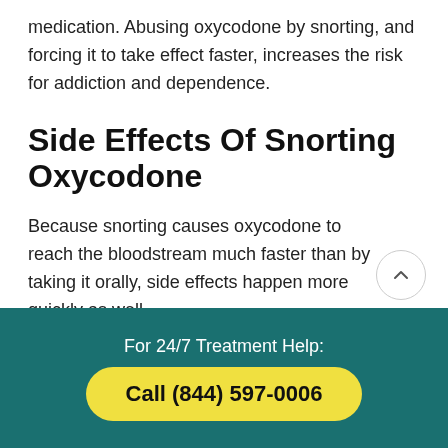medication. Abusing oxycodone by snorting, and forcing it to take effect faster, increases the risk for addiction and dependence.
Side Effects Of Snorting Oxycodone
Because snorting causes oxycodone to reach the bloodstream much faster than by taking it orally, side effects happen more quickly as well.
For 24/7 Treatment Help:
Call (844) 597-0006